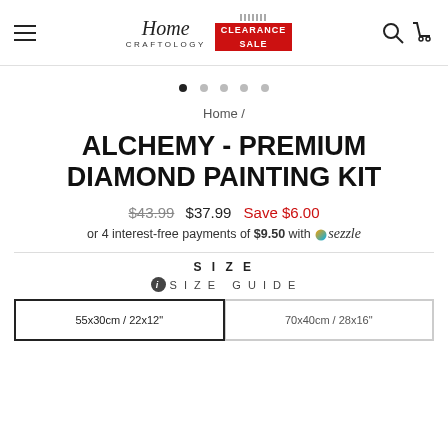Home Craftology — Clearance Sale navigation header
carousel dots
Home /
ALCHEMY - PREMIUM DIAMOND PAINTING KIT
$43.99  $37.99  Save $6.00
or 4 interest-free payments of $9.50 with Sezzle
SIZE
SIZE GUIDE
55x30cm / 22x12"  70x40cm / 28x16"